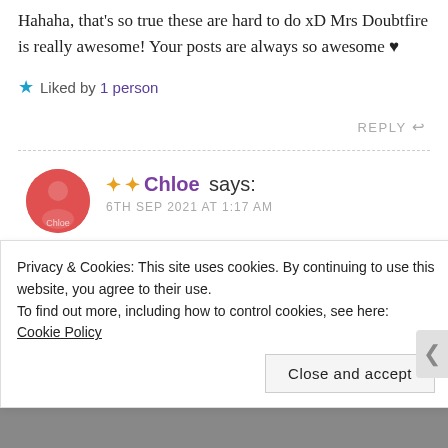Hahaha, that's so true these are hard to do xD Mrs Doubtfire is really awesome! Your posts are always so awesome ♥
★ Liked by 1 person
REPLY ↩
✦ ✦ Chloe says: 6TH SEP 2021 AT 1:17 AM
Privacy & Cookies: This site uses cookies. By continuing to use this website, you agree to their use. To find out more, including how to control cookies, see here: Cookie Policy
Close and accept